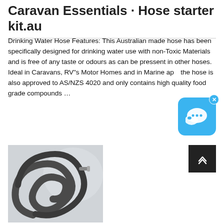Caravan Essentials · Hose starter kit.au
Drinking Water Hose Features: This Australian made hose has been specifically designed for drinking water use with non-Toxic Materials and is free of any taste or odours as can be pressent in other hoses. Ideal in Caravans, RV"s Motor Homes and in Marine ap... the hose is also approved to AS/NZS 4020 and only contains high quality food grade compounds ...
[Figure (photo): Dark grey rubber hose coiled and knotted, with a metal fitting visible at one end, on a light grey background]